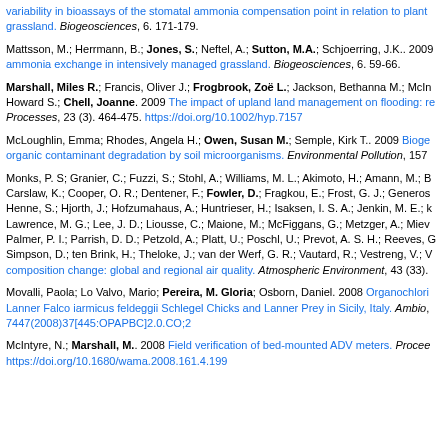variability in bioassays of the stomatal ammonia compensation point in relation to plant grassland. Biogeosciences, 6. 171-179.
Mattsson, M.; Herrmann, B.; Jones, S.; Neftel, A.; Sutton, M.A.; Schjoerring, J.K.. 2009 ammonia exchange in intensively managed grassland. Biogeosciences, 6. 59-66.
Marshall, Miles R.; Francis, Oliver J.; Frogbrook, Zoë L.; Jackson, Bethanna M.; McIn Howard S.; Chell, Joanne. 2009 The impact of upland land management on flooding: re Processes, 23 (3). 464-475. https://doi.org/10.1002/hyp.7157
McLoughlin, Emma; Rhodes, Angela H.; Owen, Susan M.; Semple, Kirk T.. 2009 Bioge organic contaminant degradation by soil microorganisms. Environmental Pollution, 157
Monks, P. S; Granier, C.; Fuzzi, S.; Stohl, A.; Williams, M. L.; Akimoto, H.; Amann, M.; B Carslaw, K.; Cooper, O. R.; Dentener, F.; Fowler, D.; Fragkou, E.; Frost, G. J.; Generos Henne, S.; Hjorth, J.; Hofzumahaus, A.; Huntrieser, H.; Isaksen, I. S. A.; Jenkin, M. E.; k Lawrence, M. G.; Lee, J. D.; Liousse, C.; Maione, M.; McFiggans, G.; Metzger, A.; Miev Palmer, P. I.; Parrish, D. D.; Petzold, A.; Platt, U.; Poschl, U.; Prevot, A. S. H.; Reeves, G Simpson, D.; ten Brink, H.; Theloke, J.; van der Werf, G. R.; Vautard, R.; Vestreng, V.; V composition change: global and regional air quality. Atmospheric Environment, 43 (33).
Movalli, Paola; Lo Valvo, Mario; Pereira, M. Gloria; Osborn, Daniel. 2008 Organochlori Lanner Falco iarmicus feldeggii Schlegel Chicks and Lanner Prey in Sicily, Italy. Ambio, 7447(2008)37[445:OPAPBC]2.0.CO;2
McIntyre, N.; Marshall, M.. 2008 Field verification of bed-mounted ADV meters. Procee https://doi.org/10.1680/wama.2008.161.4.199